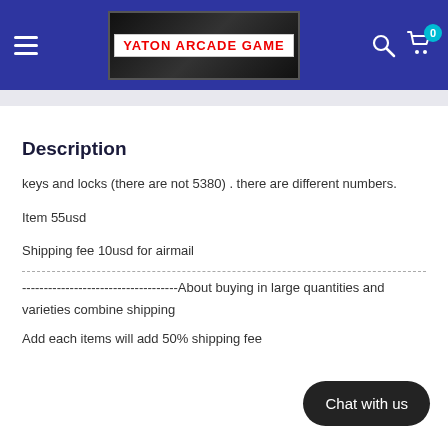YATON ARCADE GAME — navigation header with hamburger menu, logo, search icon, and cart (0)
Description
keys and locks (there are not 5380) . there are different numbers.
Item 55usd
Shipping fee 10usd for airmail
------------------------------------About buying in large quantities and varieties combine shipping
Add each items will add 50% shipping fee